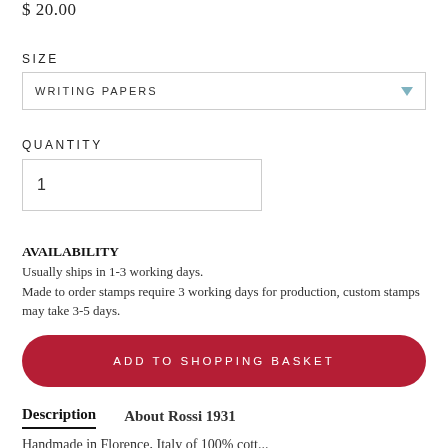$ 20.00
SIZE
WRITING PAPERS
QUANTITY
1
AVAILABILITY
Usually ships in 1-3 working days.
Made to order stamps require 3 working days for production, custom stamps may take 3-5 days.
ADD TO SHOPPING BASKET
Description	About Rossi 1931
Handmade in Florence, Italy of 100% cott...